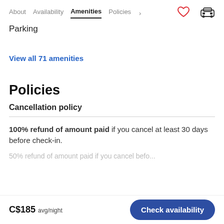About   Availability   Amenities   Policies
Parking
View all 71 amenities
Policies
Cancellation policy
100% refund of amount paid if you cancel at least 30 days before check-in.
C$185 avg/night   Check availability